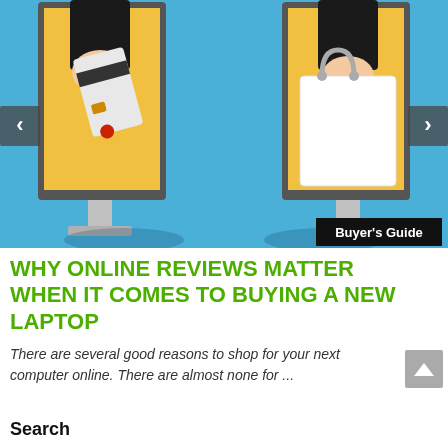[Figure (illustration): Online shopping illustration showing two computer monitors facing each other. A hand from the left monitor holds a credit card, and a hand from the right monitor holds a white shopping bag, on a blue background. Navigation arrows on left and right sides. A 'Buyer's Guide' badge in the bottom right corner.]
WHY ONLINE REVIEWS MATTER WHEN IT COMES TO BUYING A NEW LAPTOP
There are several good reasons to shop for your next computer online. There are almost none for ...
Search